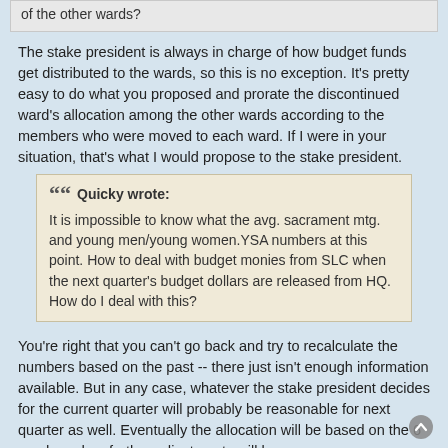of the other wards?
The stake president is always in charge of how budget funds get distributed to the wards, so this is no exception. It's pretty easy to do what you proposed and prorate the discontinued ward's allocation among the other wards according to the members who were moved to each ward. If I were in your situation, that's what I would propose to the stake president.
Quicky wrote: It is impossible to know what the avg. sacrament mtg. and young men/young women.YSA numbers at this point. How to deal with budget monies from SLC when the next quarter's budget dollars are released from HQ. How do I deal with this?
You're right that you can't go back and try to recalculate the numbers based on the past -- there just isn't enough information available. But in any case, whatever the stake president decides for the current quarter will probably be reasonable for next quarter as well. Eventually the allocation will be based on the 6 wards and no further adjustments will be necessary.
Questions that can benefit the larger community should be asked in a public forum, not a private message.